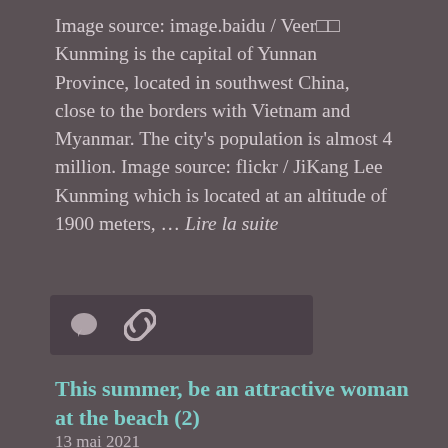Image source: image.baidu / Veer□□ Kunming is the capital of Yunnan Province, located in southwest China, close to the borders with Vietnam and Myanmar. The city's population is almost 4 million. Image source: flickr / JiKang Lee Kunming which is located at an altitude of 1900 meters, … Lire la suite
[Figure (other): Icon bar with comment bubble icon and link/chain icon on dark background]
This summer, be an attractive woman at the beach (2)
13 mai 2021
Bikini Sets Geometric Print Halter Cut-Out Bikini Set in Multicolor. Size: 2XL Bikini Sets Geometric Print Halter Cut-Out Bikini Set in Multicolor. Size: 2XL Item